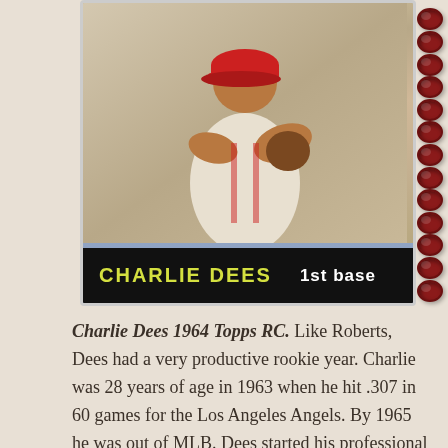[Figure (photo): Charlie Dees 1964 Topps baseball rookie card showing a player in a baseball uniform. The card has a black nameplate at the bottom with 'CHARLIE DEES' in yellow and '1st base' in white text. The card is photographed on what appears to be a spiral-bound notebook with red spiral coils visible on the right side.]
Charlie Dees 1964 Topps RC. Like Roberts, Dees had a very productive rookie year. Charlie was 28 years of age in 1963 when he hit .307 in 60 games for the Los Angeles Angels. By 1965 he was out of MLB. Dees started his professional career in 1957 with the Louisville Clippers of the Negro Leagues.